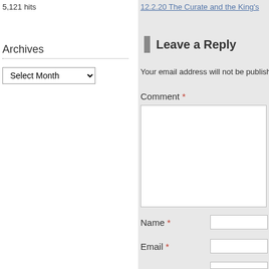5,121 hits
Archives
Select Month (dropdown)
12.2.20 The Curate and the King's
Leave a Reply
Your email address will not be published.
Comment *
Name *
Email *